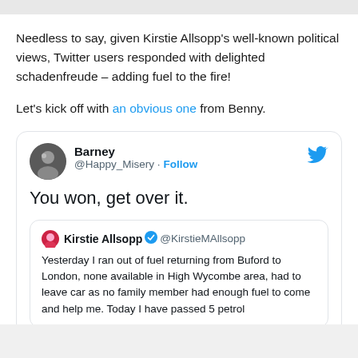Needless to say, given Kirstie Allsopp's well-known political views, Twitter users responded with delighted schadenfreude – adding fuel to the fire!
Let's kick off with an obvious one from Benny.
[Figure (screenshot): Embedded tweet from Barney (@Happy_Misery) with Follow button and Twitter bird logo. Tweet text: 'You won, get over it.' Contains a quoted tweet from Kirstie Allsopp (@KirstieMAllsopp) starting with: 'Yesterday I ran out of fuel returning from Buford to London, none available in High Wycombe area, had to leave car as no family member had enough fuel to come and help me. Today I have passed 5 petrol']